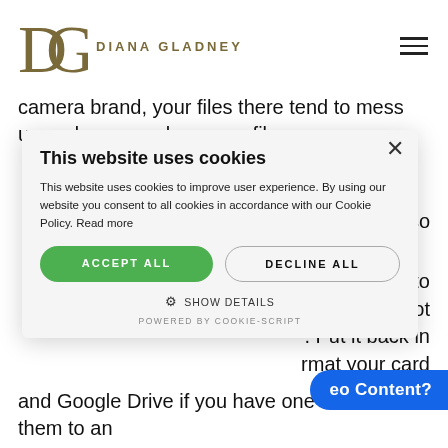[Figure (logo): Diana Gladney logo with stylized DG monogram in olive/gold color and brand name in uppercase letter-spaced text]
camera brand, your files there tend to mess up and you may lose your files.
[Figure (screenshot): Cookie consent modal popup with title 'This website uses cookies', body text about cookies and Cookie Policy, ACCEPT ALL and DECLINE ALL buttons, SHOW DETAILS option, and POWERED BY COOKIE-SCRIPT footer]
liting so
ake sure to ever, do not . Put it back in rmat your card
eo Content?
and Google Drive if you have one or save them to an